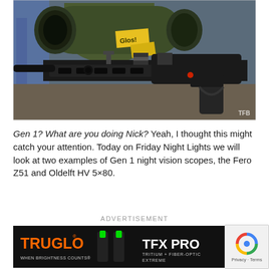[Figure (photo): Close-up photograph of a black AR-style firearm with a large cylindrical night vision scope mounted on top, olive/green colored body on the scope, M-LOK handguard, and a tag reading 'Glos!' on the scope. Small watermark 'TFB' in lower right corner.]
Gen 1? What are you doing Nick? Yeah, I thought this might catch your attention. Today on Friday Night Lights we will look at two examples of Gen 1 night vision scopes, the Fero Z51 and Oldelft HV 5×80.
ADVERTISEMENT
[Figure (screenshot): TRUGLO advertisement banner showing 'TFX PRO - TRITIUM + FIBER-OPTIC EXTREME' with green fiber optic sights on black background. TRUGLO logo in orange text on left, TFX PRO in white text on right.]